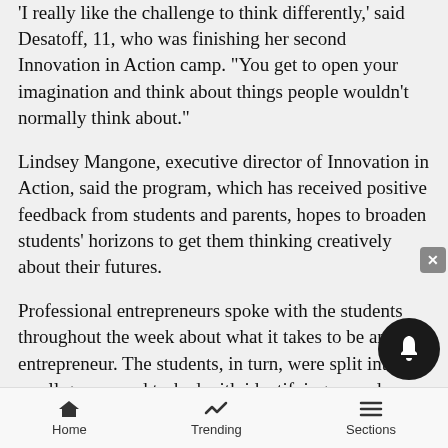'I really like the challenge to think differently,' said Desatoff, 11, who was finishing her second Innovation in Action camp. "You get to open your imagination and think about things people wouldn't normally think about."
Lindsey Mangone, executive director of Innovation in Action, said the program, which has received positive feedback from students and parents, hopes to broaden students' horizons to get them thinking creatively about their futures.
Professional entrepreneurs spoke with the students throughout the week about what it takes to be an entrepreneur. The students, in turn, were split into small groups and tasked with identifying a need students their age have and were directed to use what they learned about entrepreneurship to dream
Home   Trending   Sections